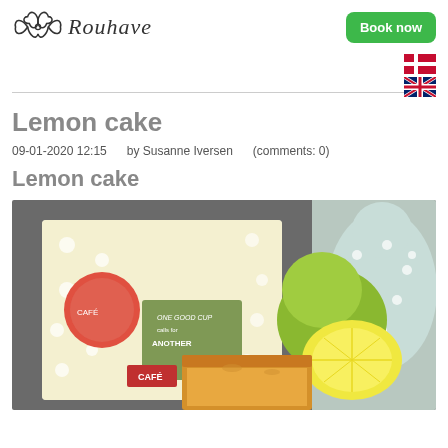Rouhave — Book now
Lemon cake
09-01-2020 12:15   by Susanne Iversen   (comments: 0)
Lemon cake
[Figure (photo): Photo of a decorative tin box with café/coffee motifs, a halved lemon, whole limes, a light blue polka-dot oven mitt, and a slice of golden lemon cake on a dark surface.]